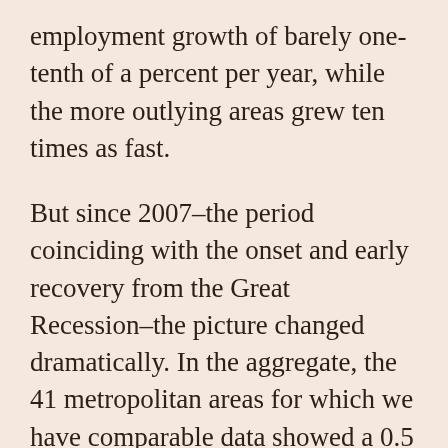employment growth of barely one-tenth of a percent per year, while the more outlying areas grew ten times as fast.
But since 2007–the period coinciding with the onset and early recovery from the Great Recession–the picture changed dramatically. In the aggregate, the 41 metropolitan areas for which we have comparable data showed a 0.5 percent per year growth in city center employment and a 0.1 percent decrease in employment in the periphery. While only 7 city centers outperformed their surrounding metros in the 2002-07 period, 21 outperformed the periphery in